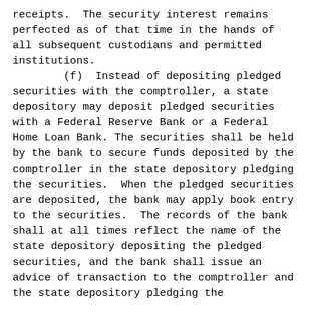receipts.  The security interest remains perfected as of that time in the hands of all subsequent custodians and permitted institutions.
        (f)  Instead of depositing pledged securities with the comptroller, a state depository may deposit pledged securities with a Federal Reserve Bank or a Federal Home Loan Bank. The securities shall be held by the bank to secure funds deposited by the comptroller in the state depository pledging the securities.  When the pledged securities are deposited, the bank may apply book entry to the securities.  The records of the bank shall at all times reflect the name of the state depository depositing the pledged securities, and the bank shall issue an advice of transaction to the comptroller and the state depository pledging the